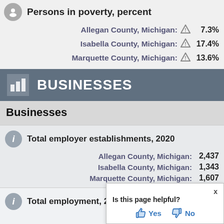Persons in poverty, percent
Allegan County, Michigan: 7.3%
Isabella County, Michigan: 17.4%
Marquette County, Michigan: 13.6%
BUSINESSES
Businesses
Total employer establishments, 2020
Allegan County, Michigan: 2,437
Isabella County, Michigan: 1,343
Marquette County, Michigan: 1,607
Total employment, 2020
Allegan County, Michigan:
Isabella County, Michigan:
[Figure (infographic): Is this page helpful? Yes / No popup widget]